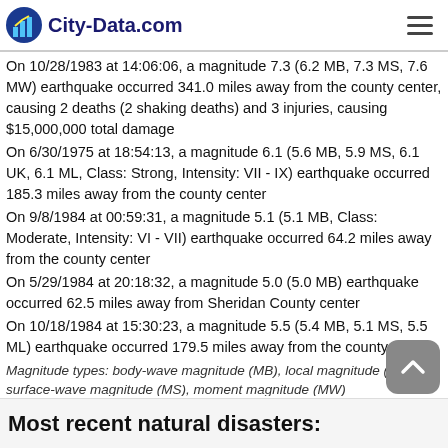City-Data.com
On 10/28/1983 at 14:06:06, a magnitude 7.3 (6.2 MB, 7.3 MS, 7.6 MW) earthquake occurred 341.0 miles away from the county center, causing 2 deaths (2 shaking deaths) and 3 injuries, causing $15,000,000 total damage
On 6/30/1975 at 18:54:13, a magnitude 6.1 (5.6 MB, 5.9 MS, 6.1 UK, 6.1 ML, Class: Strong, Intensity: VII - IX) earthquake occurred 185.3 miles away from the county center
On 9/8/1984 at 00:59:31, a magnitude 5.1 (5.1 MB, Class: Moderate, Intensity: VI - VII) earthquake occurred 64.2 miles away from the county center
On 5/29/1984 at 20:18:32, a magnitude 5.0 (5.0 MB) earthquake occurred 62.5 miles away from Sheridan County center
On 10/18/1984 at 15:30:23, a magnitude 5.5 (5.4 MB, 5.1 MS, 5.5 ML) earthquake occurred 179.5 miles away from the county center
Magnitude types: body-wave magnitude (MB), local magnitude (ML), surface-wave magnitude (MS), moment magnitude (MW)
Most recent natural disasters: